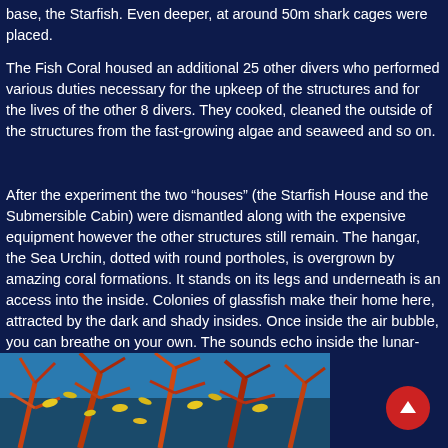base, the Starfish. Even deeper, at around 50m shark cages were placed.
The Fish Coral housed an additional 25 other divers who performed various duties necessary for the upkeep of the structures and for the lives of the other 8 divers. They cooked, cleaned the outside of the structures from the fast-growing algae and seaweed and so on.
After the experiment the two “houses” (the Starfish House and the Submersible Cabin) were dismantled along with the expensive equipment however the other structures still remain. The hangar, the Sea Urchin, dotted with round portholes, is overgrown by amazing coral formations. It stands on its legs and underneath is an access into the inside. Colonies of glassfish make their home here, attracted by the dark and shady insides. Once inside the air bubble, you can breathe on your own. The sounds echo inside the lunar-looking structure.
[Figure (photo): Underwater photo showing coral formations with colorful fish, featuring red, orange and brown coral branches with small fish visible]